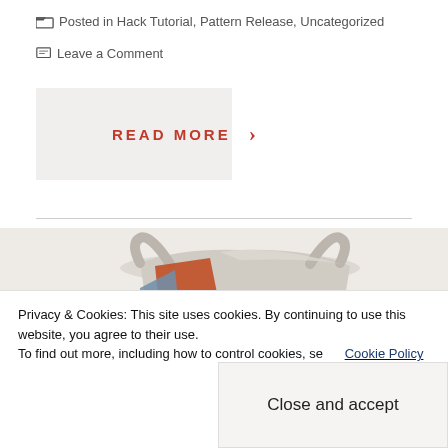Posted in Hack Tutorial, Pattern Release, Uncategorized
Leave a Comment
READ MORE ›
[Figure (photo): Photo of a fabric tote bag with orange, blue, and grey patchwork fabric, partially visible, on a light background]
Privacy & Cookies: This site uses cookies. By continuing to use this website, you agree to their use. To find out more, including how to control cookies, see here: Cookie Policy
Close and accept